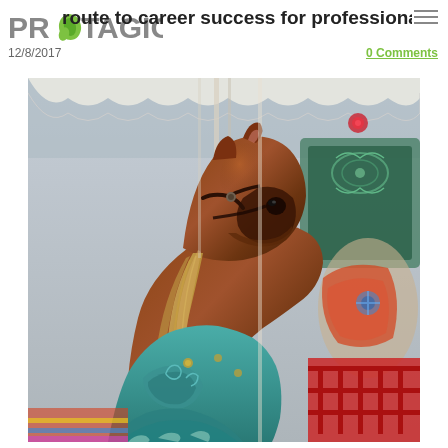PROTAGION
route to career success for professionals?
12/8/2017
0 Comments
[Figure (photo): Close-up photo of a carousel horse with brown painted head, teal/green decorated saddle area, ornate painted details, set against a fairground background with colorful carousel elements and red railings visible.]